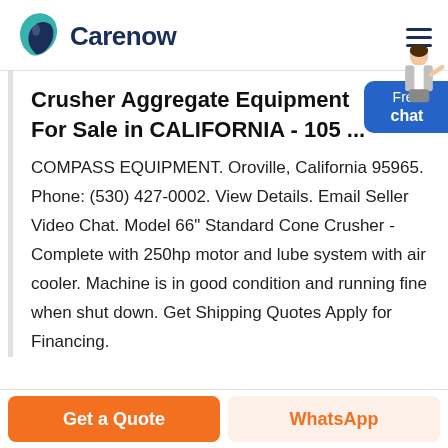Carenow
Crusher Aggregate Equipment For Sale in CALIFORNIA - 105 ...
COMPASS EQUIPMENT. Oroville, California 95965. Phone: (530) 427-0002. View Details. Email Seller Video Chat. Model 66" Standard Cone Crusher - Complete with 250hp motor and lube system with air cooler. Machine is in good condition and running fine when shut down. Get Shipping Quotes Apply for Financing.
[Figure (illustration): Free chat widget with person illustration]
Get a Quote | WhatsApp